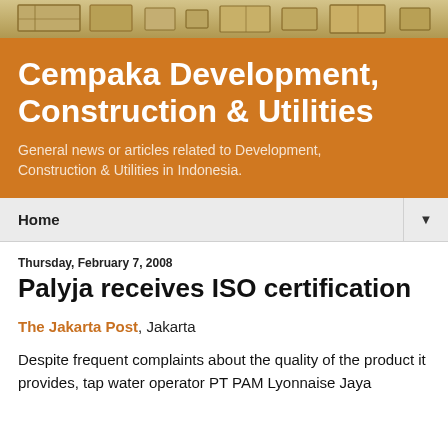[Figure (photo): Partial photo of a building facade with warm tan/golden tones, partially cropped at the top of the page]
Cempaka Development, Construction & Utilities
General news or articles related to Development, Construction & Utilities in Indonesia.
Home ▼
Thursday, February 7, 2008
Palyja receives ISO certification
The Jakarta Post, Jakarta
Despite frequent complaints about the quality of the product it provides, tap water operator PT PAM Lyonnaise Jaya